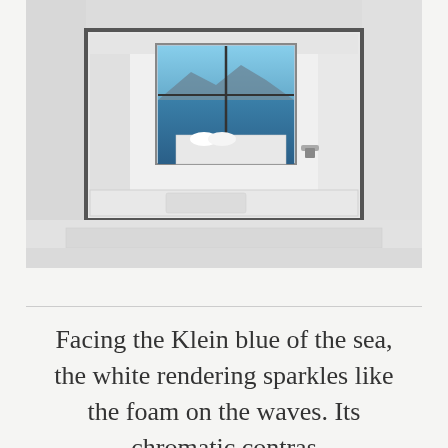[Figure (photo): A minimalist white interior room with a framed mirror or window-within-a-window effect. Through the inner frame, a bed with white linens and a small window showing blue sea and mountain silhouette is visible. The room is entirely white with clean architectural lines and a small chrome fixture visible.]
Facing the Klein blue of the sea, the white rendering sparkles like the foam on the waves. Its chromatic contras